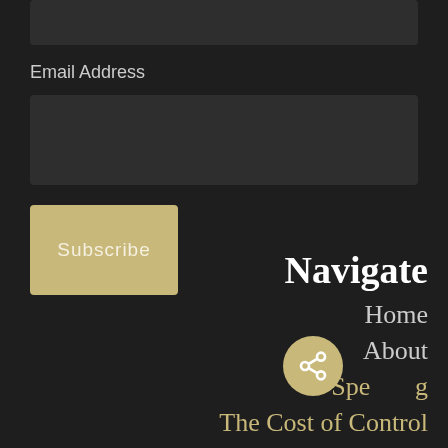[Figure (screenshot): Dark input box at top of page (partial, clipped)]
Email Address
[Figure (screenshot): Dark email address input field]
Subscribe
Navigate
Home
About
Speaking
The Cost of Control
[Figure (other): Gold/tan circular share button with share icon]